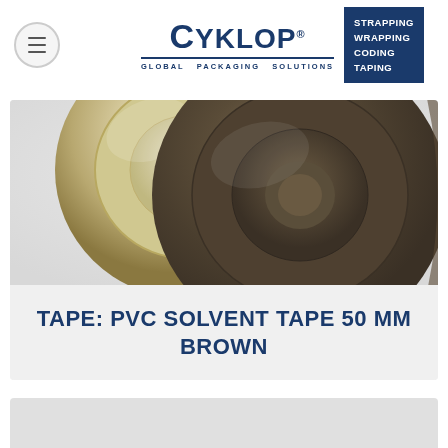[Figure (logo): Cyklop Global Packaging Solutions logo with tagbox showing STRAPPING WRAPPING CODING TAPING]
[Figure (photo): Two rolls of PVC solvent tape, one clear/transparent and one brown, photographed on a light background]
TAPE: PVC SOLVENT TAPE 50 MM BROWN